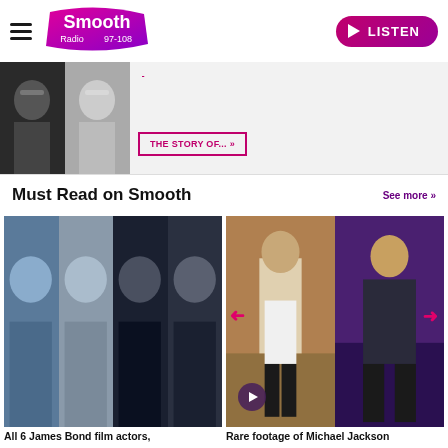Smooth Radio 97-108 | LISTEN
[Figure (photo): Two black and white photos of Elton John side by side]
THE STORY OF... »
Must Read on Smooth
See more >>
[Figure (photo): Strip of four James Bond film actors in tuxedos]
All 6 James Bond film actors,
[Figure (photo): Two panels showing Michael Jackson dancing with pink arrows and a play button overlay]
Rare footage of Michael Jackson